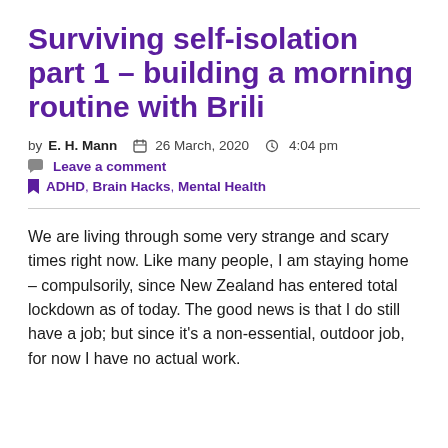Surviving self-isolation part 1 – building a morning routine with Brili
by E. H. Mann  📅 26 March, 2020  🕐 4:04 pm
💬 Leave a comment
🔖 ADHD, Brain Hacks, Mental Health
We are living through some very strange and scary times right now. Like many people, I am staying home – compulsorily, since New Zealand has entered total lockdown as of today. The good news is that I do still have a job; but since it's a non-essential, outdoor job, for now I have no actual work.